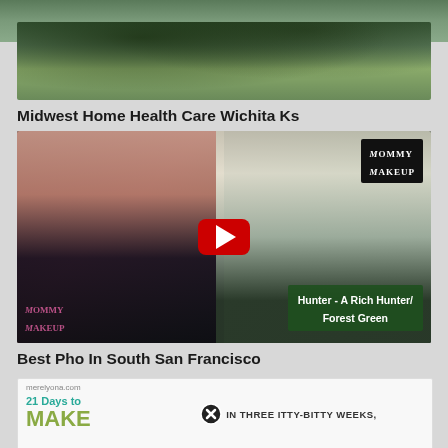[Figure (photo): Tree photo with close button overlay at top]
Midwest Home Health Care Wichita Ks
[Figure (screenshot): Video thumbnail showing a woman with dark red hair next to Mommy Makeup product; YouTube play button in center; text overlay 'Hunter - A Rich Hunter/Forest Green']
Best Pho In South San Francisco
[Figure (screenshot): Website screenshot from merelyona.com showing '21 Days to MAKE' and text 'IN THREE ITTY-BITTY WEEKS,' with close button overlay]